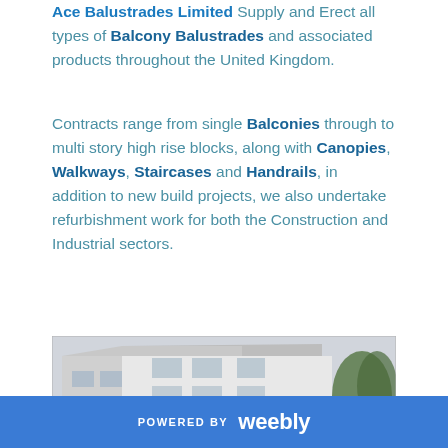Ace Balustrades Limited Supply and Erect all types of Balcony Balustrades and associated products throughout the United Kingdom.
Contracts range from single Balconies through to multi story high rise blocks, along with Canopies, Walkways, Staircases and Handrails, in addition to new build projects, we also undertake refurbishment work for both the Construction and Industrial sectors.
[Figure (photo): Exterior photograph of a white multi-storey building with balconies, photographed from a low angle against an overcast sky, with a tree visible on the right side.]
POWERED BY weebly